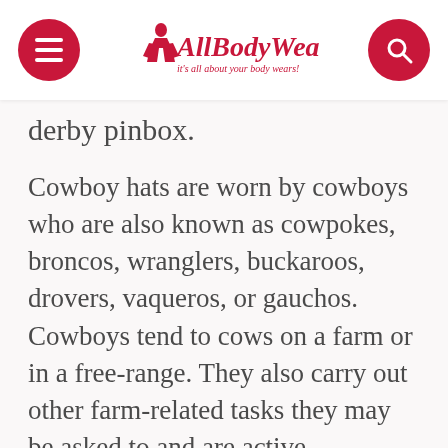AllBodyWears.com — it's all about your body wears!
derby pinbox.
Cowboy hats are worn by cowboys who are also known as cowpokes, broncos, wranglers, buckaroos, drovers, vaqueros, or gauchos. Cowboys tend to cows on a farm or in a free-range. They also carry out other farm-related tasks they may be asked to and are active participants at rodeos.
The cowboy hat is his most distinctive symbol. Some cowboys even wear their cowboy hats with feathers attached to them to showcase their achievements,